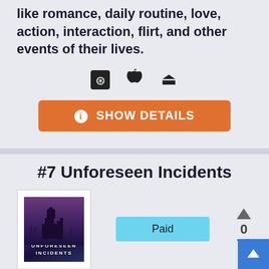like romance, daily routine, love, action, interaction, flirt, and other events of their lives.
[Figure (infographic): Platform icons: Steam, Apple, PlayStation]
SHOW DETAILS
#7 Unforeseen Incidents
[Figure (illustration): Game cover art for Unforeseen Incidents showing a dark purple castle/building illustration with text 'UNFORESEEN INCIDENTS']
Paid
0
Unforeseen Incidents is a Classical Puzzle, Adventure and Single-player game developed and introduced by